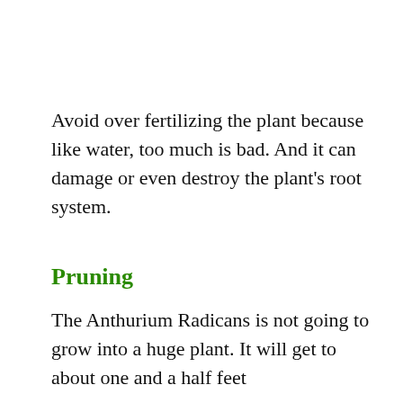Avoid over fertilizing the plant because like water, too much is bad. And it can damage or even destroy the plant's root system.
Pruning
The Anthurium Radicans is not going to grow into a huge plant. It will get to about one and a half feet